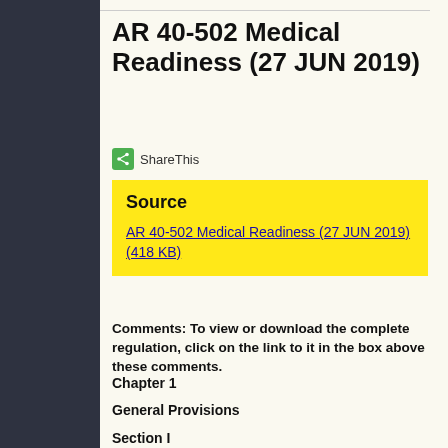AR 40-502 Medical Readiness (27 JUN 2019)
ShareThis
Source
AR 40-502 Medical Readiness (27 JUN 2019) (418 KB)
Comments: To view or download the complete regulation, click on the link to it in the box above these comments.
Chapter 1
General Provisions
Section I